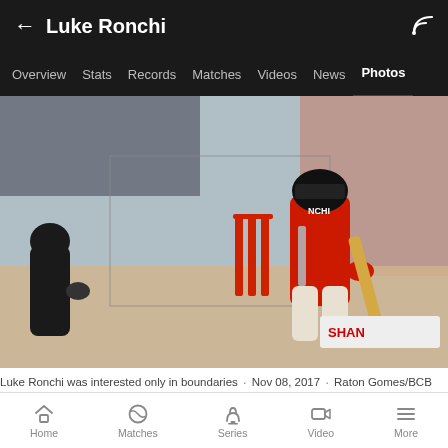Luke Ronchi
Overview  Stats  Records  Matches  Videos  News  Photos
[Figure (photo): Cricket player Luke Ronchi in red uniform batting, red stumps visible, fielder in black on left, stadium seating in background]
Luke Ronchi was interested only in boundaries · Nov 08, 2017 · Raton Gomes/BCB
[Figure (photo): Second photo placeholder, light grey rectangle]
Home  Matches  Series  Video  More